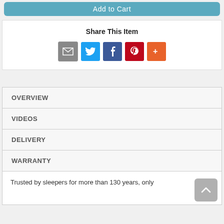[Figure (screenshot): Add to Cart button in teal/blue color]
Share This Item
[Figure (infographic): Social sharing icons: Email, Twitter, Facebook, Pinterest, More]
OVERVIEW
VIDEOS
DELIVERY
WARRANTY
Trusted by sleepers for more than 130 years, only